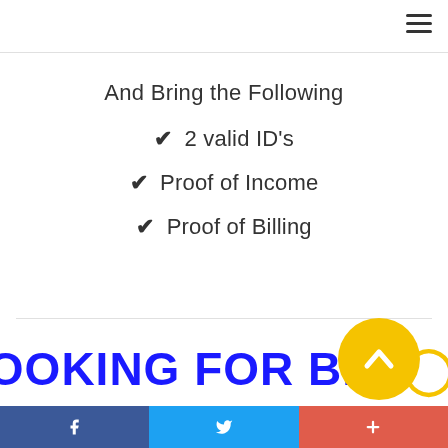And Bring the Following
✔ 2 valid ID's
✔ Proof of Income
✔ Proof of Billing
LOOKING FOR BET[obscured]R
f  twitter  +